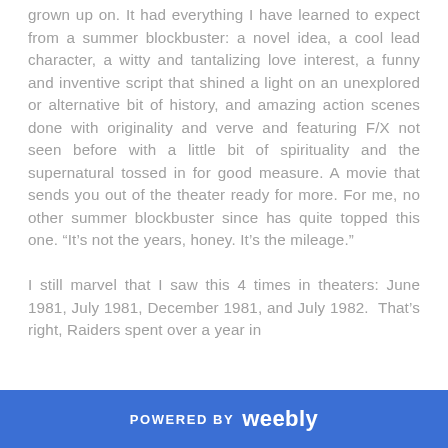grown up on. It had everything I have learned to expect from a summer blockbuster: a novel idea, a cool lead character, a witty and tantalizing love interest, a funny and inventive script that shined a light on an unexplored or alternative bit of history, and amazing action scenes done with originality and verve and featuring F/X not seen before with a little bit of spirituality and the supernatural tossed in for good measure. A movie that sends you out of the theater ready for more. For me, no other summer blockbuster since has quite topped this one. “It’s not the years, honey. It’s the mileage.”

I still marvel that I saw this 4 times in theaters: June 1981, July 1981, December 1981, and July 1982. That’s right, Raiders spent over a year in
POWERED BY weebly